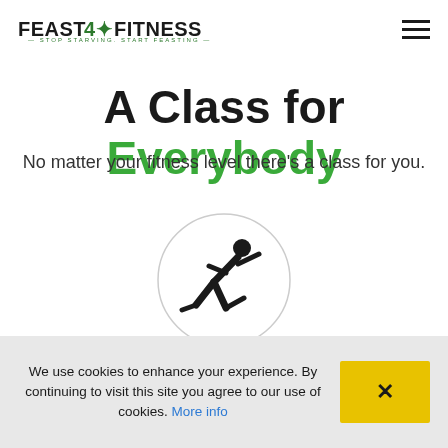FEAST4FITNESS — STOP STARVING. START FEASTING
A Class for Everybody
No matter your fitness level there's a class for you.
[Figure (illustration): A circular icon showing a running person silhouette in black, inside a light gray circle outline.]
We use cookies to enhance your experience. By continuing to visit this site you agree to our use of cookies. More info